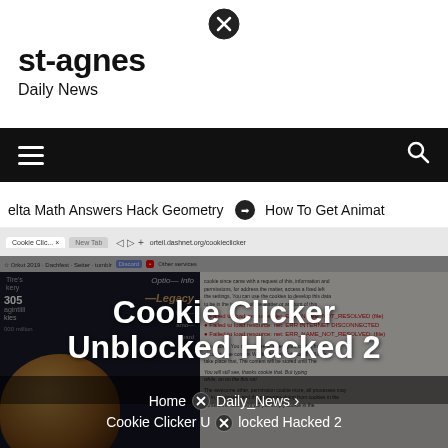[Figure (screenshot): Close/X button circle icon at top center]
st-agnes
Daily News
[Figure (screenshot): Black navigation bar with hamburger menu icon on left and search icon on right]
elta Math Answers Hack Geometry   ➡ How To Get Animate
[Figure (screenshot): Screenshot of Cookie Clicker game in browser with overlaid title text 'Cookie Clicker Unblocked Hacked 2' and breadcrumb navigation showing Home > Daily_News > Cookie Clicker Unblocked Hacked 2]